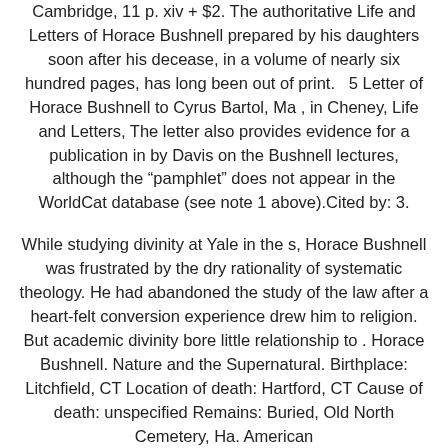Cambridge, 11 p. xiv + $2. The authoritative Life and Letters of Horace Bushnell prepared by his daughters soon after his decease, in a volume of nearly six hundred pages, has long been out of print.   5 Letter of Horace Bushnell to Cyrus Bartol, Ma , in Cheney, Life and Letters, The letter also provides evidence for a publication in by Davis on the Bushnell lectures, although the “pamphlet” does not appear in the WorldCat database (see note 1 above).Cited by: 3.
While studying divinity at Yale in the s, Horace Bushnell was frustrated by the dry rationality of systematic theology. He had abandoned the study of the law after a heart-felt conversion experience drew him to religion. But academic divinity bore little relationship to . Horace Bushnell. Nature and the Supernatural. Birthplace: Litchfield, CT Location of death: Hartford, CT Cause of death: unspecified Remains: Buried, Old North Cemetery, Ha. American